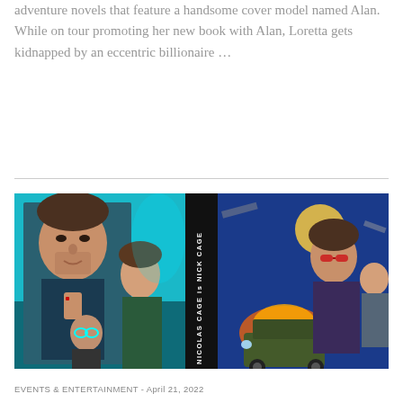adventure novels that feature a handsome cover model named Alan. While on tour promoting her new book with Alan, Loretta gets kidnapped by an eccentric billionaire ...
[Figure (photo): Movie poster composite image for 'The Unbearable Weight of Massive Talent' featuring Nicolas Cage as Nick Cage. Left half shows Nicolas Cage and Pedro Pascal in a stylized teal-toned poster. Center black vertical strip reads 'NICOLAS CAGE is NICK CAGE'. Right half shows an action movie collage with multiple characters and explosion scenes.]
EVENTS & ENTERTAINMENT - April 21, 2022